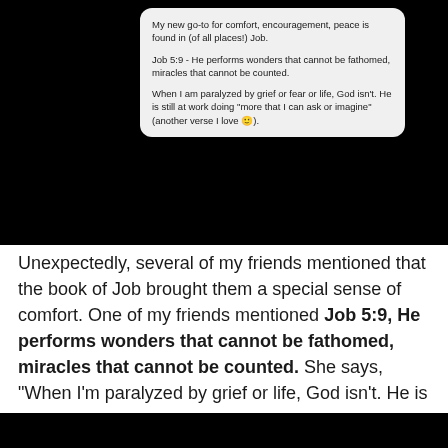[Figure (screenshot): Screenshot of a chat message bubble on a dark background. The message reads: 'My new go-to for comfort, encouragement, peace is found in (of all places!) Job. Job 5:9 - He performs wonders that cannot be fathomed, miracles that cannot be counted. When I am paralyzed by grief or fear or life, God isn't. He is still at work doing "more that I can ask or imagine" (another verse I love 🙂).']
Unexpectedly, several of my friends mentioned that the book of Job brought them a special sense of comfort. One of my friends mentioned Job 5:9, He performs wonders that cannot be fathomed, miracles that cannot be counted. She says, "When I'm paralyzed by grief or life, God isn't. He is still at work doing 'more than I can ask or imagine.'"